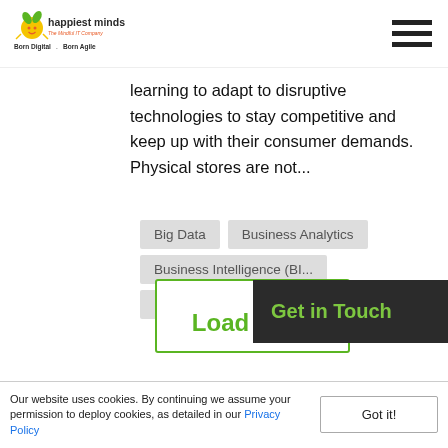[Figure (logo): Happiest Minds logo with tagline 'The Mindful IT Company' and 'Born Digital . Born Agile']
learning to adapt to disruptive technologies to stay competitive and keep up with their consumer demands. Physical stores are not...
Big Data
Business Analytics
Business Intelligence (BI...
Digital Transformation
IoT
Get in Touch
Load More
Our website uses cookies. By continuing we assume your permission to deploy cookies, as detailed in our Privacy Policy
Got it!